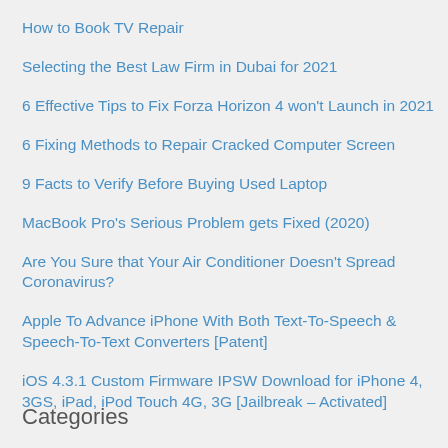How to Book TV Repair
Selecting the Best Law Firm in Dubai for 2021
6 Effective Tips to Fix Forza Horizon 4 won't Launch in 2021
6 Fixing Methods to Repair Cracked Computer Screen
9 Facts to Verify Before Buying Used Laptop
MacBook Pro's Serious Problem gets Fixed (2020)
Are You Sure that Your Air Conditioner Doesn't Spread Coronavirus?
Apple To Advance iPhone With Both Text-To-Speech & Speech-To-Text Converters [Patent]
iOS 4.3.1 Custom Firmware IPSW Download for iPhone 4, 3GS, iPad, iPod Touch 4G, 3G [Jailbreak – Activated]
Categories